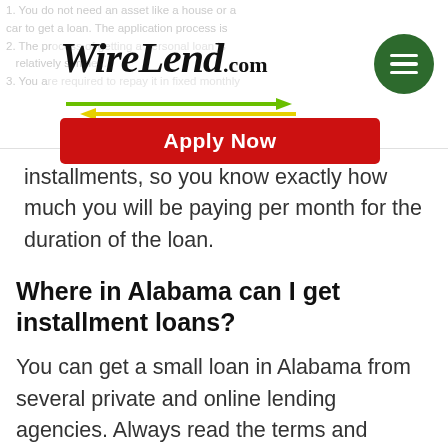WireLend.com
[Figure (logo): WireLend.com logo with hamburger menu icon]
installments, so you know exactly how much you will be paying per month for the duration of the loan.
Where in Alabama can I get installment loans?
You can get a small loan in Alabama from several private and online lending agencies. Always read the terms and conditions carefully